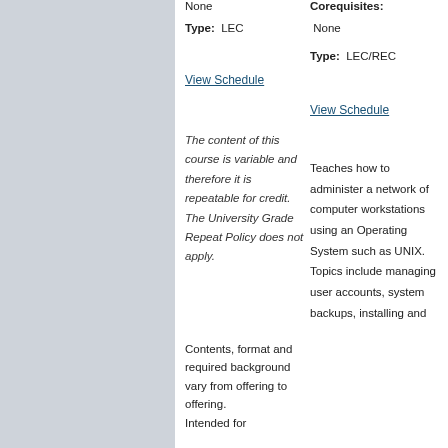None
Type: LEC
View Schedule
The content of this course is variable and therefore it is repeatable for credit. The University Grade Repeat Policy does not apply.
Contents, format and required background vary from offering to offering. Intended for
Corequisites:
None
Type: LEC/REC
View Schedule
Teaches how to administer a network of computer workstations using an Operating System such as UNIX. Topics include managing user accounts, system backups, installing and